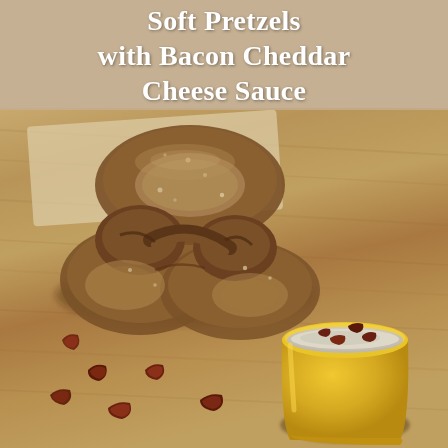Soft Pretzels with Bacon Cheddar Cheese Sauce
[Figure (photo): A large soft whole-wheat pretzel on a wooden cutting board with parchment paper, pieces of crispy bacon scattered around it, and a yellow ramekin cup filled with creamy bacon cheddar cheese sauce in the bottom right corner.]